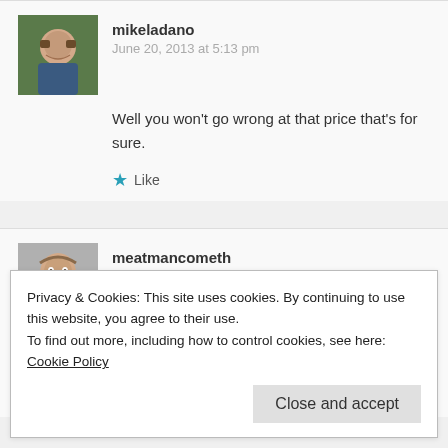[Figure (photo): Avatar photo of mikeladano, man outdoors with green background]
mikeladano
June 20, 2013 at 5:13 pm
Well you won't go wrong at that price that's for sure.
Like
[Figure (photo): Avatar photo of meatmancometh, man with dark hair]
meatmancometh
June 20, 2013 at 5:16 pm
I cannot say Dehumanizer is not a good album …. But i can say it was (to me) them trying to hard to be "Heavy Metal". They
Privacy & Cookies: This site uses cookies. By continuing to use this website, you agree to their use.
To find out more, including how to control cookies, see here: Cookie Policy
Close and accept